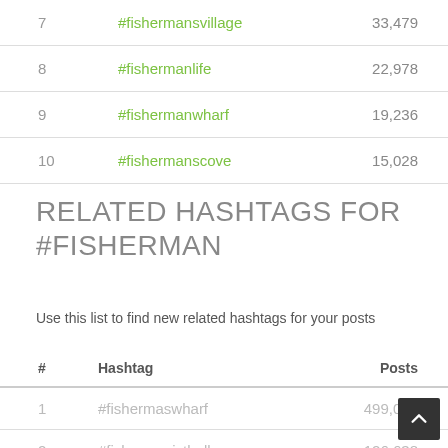| # | Hashtag | Posts |
| --- | --- | --- |
| 7 | #fishermansvillage | 33,479 |
| 8 | #fishermanlife | 22,978 |
| 9 | #fishermanwharf | 19,236 |
| 10 | #fishermanscove | 15,028 |
RELATED HASHTAGS FOR #FISHERMAN
Use this list to find new related hashtags for your posts
| # | Hashtag | Posts |
| --- | --- | --- |
| 1 | #fishermaswharf | 499,027 |
| 2 | #fishermanistbollum | 126,638 |